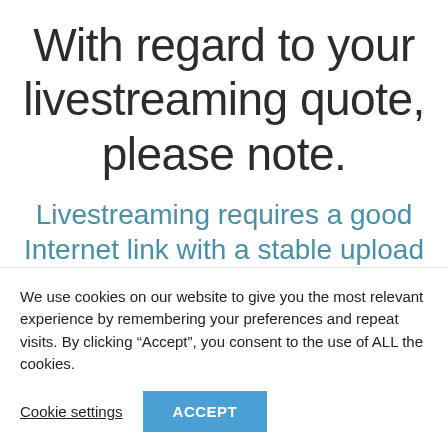With regard to your livestreaming quote, please note.
Livestreaming requires a good Internet link with a stable upload speed of at
We use cookies on our website to give you the most relevant experience by remembering your preferences and repeat visits. By clicking “Accept”, you consent to the use of ALL the cookies.
Cookie settings
ACCEPT